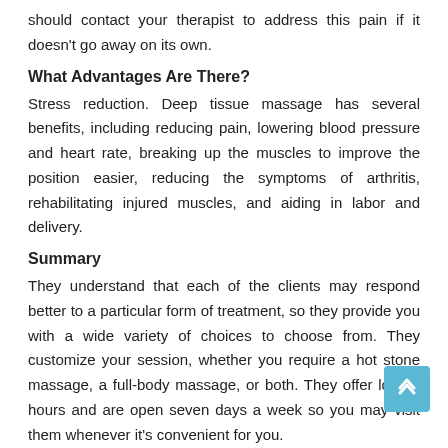should contact your therapist to address this pain if it doesn't go away on its own.
What Advantages Are There?
Stress reduction. Deep tissue massage has several benefits, including reducing pain, lowering blood pressure and heart rate, breaking up the muscles to improve the position easier, reducing the symptoms of arthritis, rehabilitating injured muscles, and aiding in labor and delivery.
Summary
They understand that each of the clients may respond better to a particular form of treatment, so they provide you with a wide variety of choices to choose from. They customize your session, whether you require a hot stone massage, a full-body massage, or both. They offer longer hours and are open seven days a week so you may visit them whenever it's convenient for you.
health